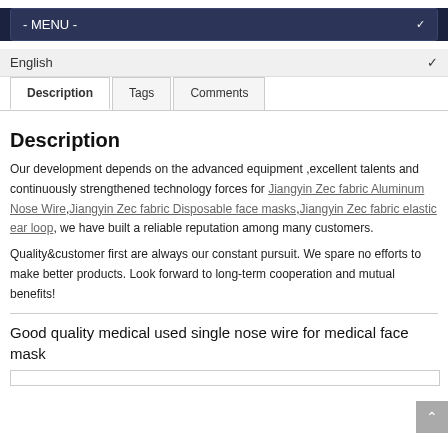- MENU -
English
Description | Tags | Comments
Description
Our development depends on the advanced equipment ,excellent talents and continuously strengthened technology forces for Jiangyin Zec fabric Aluminum Nose Wire,Jiangyin Zec fabric Disposable face masks,Jiangyin Zec fabric elastic ear loop, we have built a reliable reputation among many customers.
Quality&customer first are always our constant pursuit. We spare no efforts to make better products. Look forward to long-term cooperation and mutual benefits!
Good quality medical used single nose wire for medical face mask